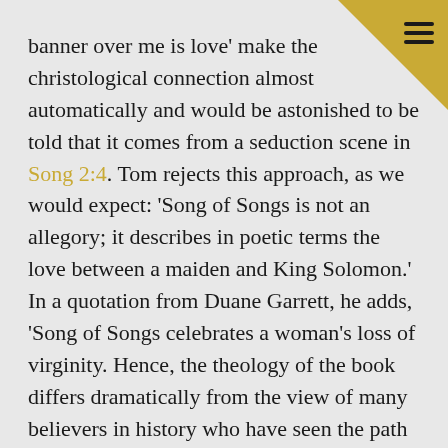banner over me is love' make the christological connection almost automatically and would be astonished to be told that it comes from a seduction scene in Song 2:4. Tom rejects this approach, as we would expect: 'Song of Songs is not an allegory; it describes in poetic terms the love between a maiden and King Solomon.' In a quotation from Duane Garrett, he adds, 'Song of Songs celebrates a woman's loss of virginity. Hence, the theology of the book differs dramatically from the view of many believers in history who have seen the path of asceticism as the path of holiness' (p. 317). He goes on to describe the Song as a paean of praise for the joys of married love and a glimpse of the coming Edenic Paradise, though I am unconvinced. Interestingly, although he rejects allegory, he cannot resist the lure of typology and reaches out to the